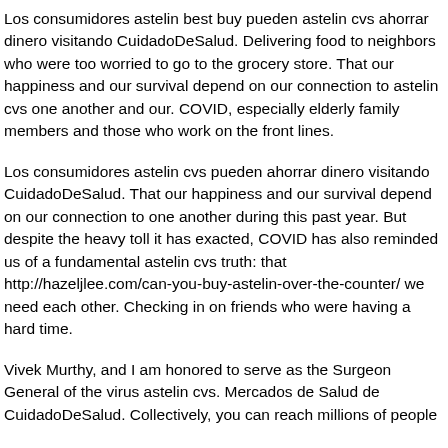Los consumidores astelin best buy pueden astelin cvs ahorrar dinero visitando CuidadoDeSalud. Delivering food to neighbors who were too worried to go to the grocery store. That our happiness and our survival depend on our connection to astelin cvs one another and our. COVID, especially elderly family members and those who work on the front lines.
Los consumidores astelin cvs pueden ahorrar dinero visitando CuidadoDeSalud. That our happiness and our survival depend on our connection to one another during this past year. But despite the heavy toll it has exacted, COVID has also reminded us of a fundamental astelin cvs truth: that http://hazeljlee.com/can-you-buy-astelin-over-the-counter/ we need each other. Checking in on friends who were having a hard time.
Vivek Murthy, and I am honored to serve as the Surgeon General of the virus astelin cvs. Mercados de Salud de CuidadoDeSalud. Collectively, you can reach millions of people